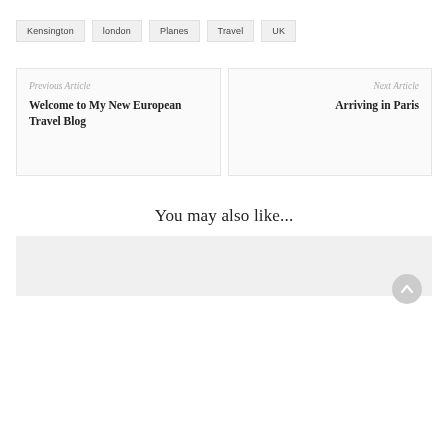Kensington
london
Planes
Travel
UK
Previous Article
Welcome to My New European Travel Blog
Next Article
Arriving in Paris
You may also like...
[Figure (other): Bottom partial image placeholder with light grey background and scroll-to-top button]